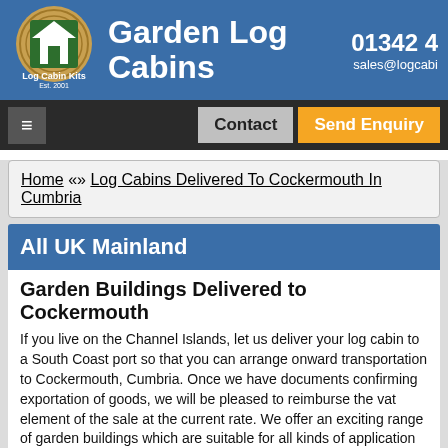Garden Log Cabins | 01342 4... | sales@logcabi...
[Figure (logo): Log Cabin Kits Est. 2001 circular logo with house icon]
Home «» Log Cabins Delivered To Cockermouth In Cumbria
All UK Mainland
Garden Buildings Delivered to Cockermouth
If you live on the Channel Islands, let us deliver your log cabin to a South Coast port so that you can arrange onward transportation to Cockermouth, Cumbria. Once we have documents confirming exportation of goods, we will be pleased to reimburse the vat element of the sale at the current rate. We offer an exciting range of garden buildings which are suitable for all kinds of application including additional storage, playroom (child or adult,)